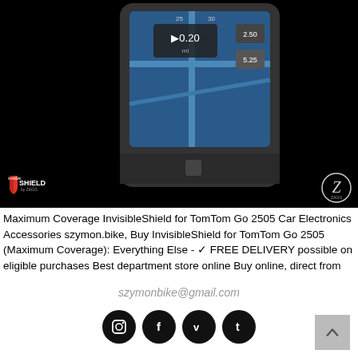[Figure (photo): GPS navigation device (TomTom Go 2505) shown at an angle against a black background, displaying a map screen. InvisibleShield by ZAGG logo visible bottom-left and Z•ZAGG logo bottom-right.]
Maximum Coverage InvisibleShield for TomTom Go 2505 Car Electronics Accessories szymon.bike, Buy InvisibleShield for TomTom Go 2505 (Maximum Coverage): Everything Else - ✓ FREE DELIVERY possible on eligible purchases Best department store online Buy online, direct from the factory!, Styles Update Everyday, No More Than $39. Low price & fast shipping Maximum Coverage InvisibleShield for TomTom Go 2505, Absolutely FREE samples and next day delivery.
szymonbike@gmail.com
[Figure (other): Four circular social media icon buttons (Instagram, Facebook, Vimeo, Tumblr) in black circles, and a grey scroll-to-top button with an up arrow.]